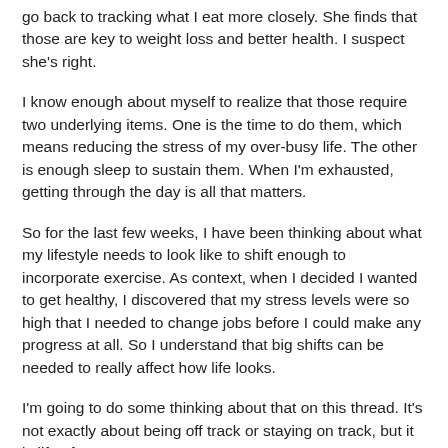go back to tracking what I eat more closely.  She finds that those are key to weight loss and better health.  I suspect she's right.
I know enough about myself to realize that those require two underlying items.  One is the time to do them, which means reducing the stress of my over-busy life.  The other is enough sleep to sustain them.  When I'm exhausted, getting through the day is all that matters.
So for the last few weeks, I have been thinking about what my lifestyle needs to look like to shift enough to incorporate exercise.  As context, when I decided I wanted to get healthy, I discovered that my stress levels were so high that I needed to change jobs before I could make any progress at all.  So I understand that big shifts can be needed to really affect how life looks.
I'm going to do some thinking about that on this thread.  It's not exactly about being off track or staying on track, but it is life after my